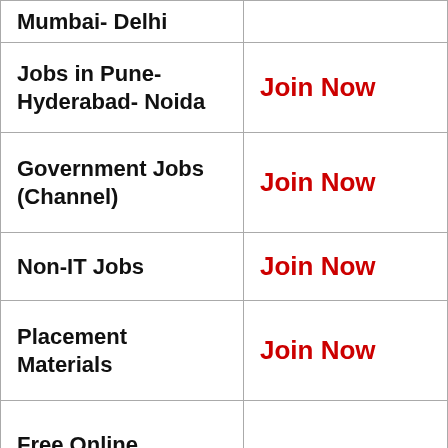| Category | Action |
| --- | --- |
| Mumbai- Delhi |  |
| Jobs in Pune- Hyderabad- Noida | Join Now |
| Government Jobs (Channel) | Join Now |
| Non-IT Jobs | Join Now |
| Placement Materials | Join Now |
| Free Online Courses | Join Now |
|  |  |